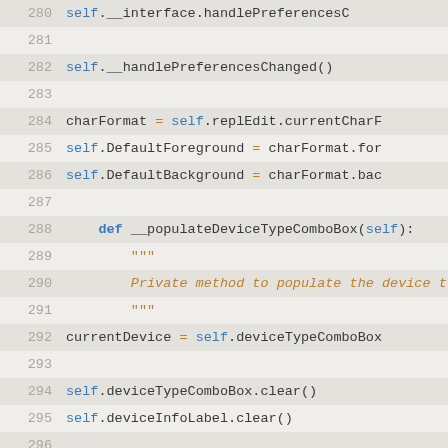[Figure (screenshot): Python source code editor view showing lines 280-306 with syntax highlighting. Line numbers on left, alternating row backgrounds. Keywords in blue, operators and strings in orange, numbers in bold blue.]